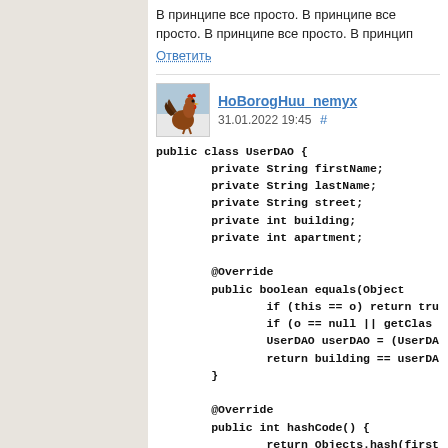В принципе все просто. В принципе все просто. В принципе все просто. В принцип
Ответить
НоBorogHuu_nemyx  31.01.2022 19:45  #
public class UserDAO {
        private String firstName;
        private String lastName;
        private String street;
        private int building;
        private int apartment;

        @Override
        public boolean equals(Object
                if (this == o) return tru
                if (o == null || getClas
                UserDAO userDAO = (UserDA
                return building == userDA
        }

        @Override
        public int hashCode() {
                return Objects.hash(first
        }
}